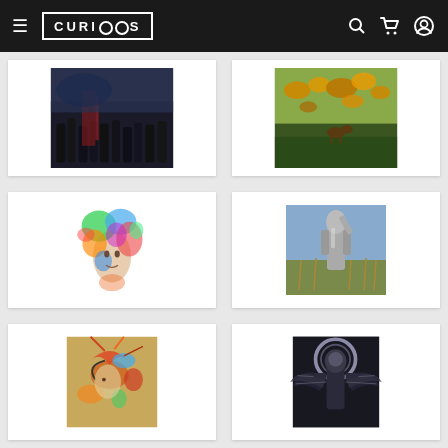CURIOOS
[Figure (illustration): Fantasy/battle scene with figures in dark tones, warriors or soldiers]
[Figure (illustration): Nature scene with golden/autumn leaves and warm tones]
[Figure (illustration): Colorful abstract portrait of a face with vibrant paint splashes in green, blue, red, orange]
[Figure (illustration): Figure in metallic/armor standing in a field, realistic painting style]
[Figure (illustration): Abstract artwork with birds and colorful splashes on a tan/gold background]
[Figure (illustration): Dark fantasy figure with mechanical wings and halo, sci-fi angel concept art]